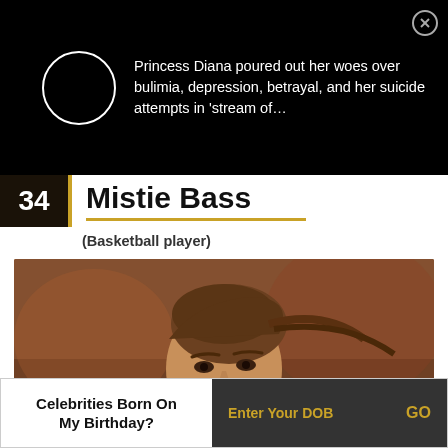Princess Diana poured out her woes over bulimia, depression, betrayal, and her suicide attempts in ‘stream of…
34 Mistie Bass
(Basketball player)
[Figure (photo): Portrait photo of Mistie Bass, a basketball player, facing slightly left, hair pulled back in a ponytail, wearing a blue jersey. Background shows a gym/court setting.]
Celebrities Born On My Birthday? Enter Your DOB GO